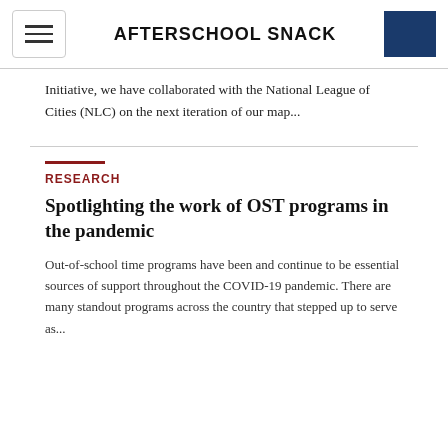AFTERSCHOOL SNACK
Initiative, we have collaborated with the National League of Cities (NLC) on the next iteration of our map...
RESEARCH
Spotlighting the work of OST programs in the pandemic
Out-of-school time programs have been and continue to be essential sources of support throughout the COVID-19 pandemic. There are many standout programs across the country that stepped up to serve as...